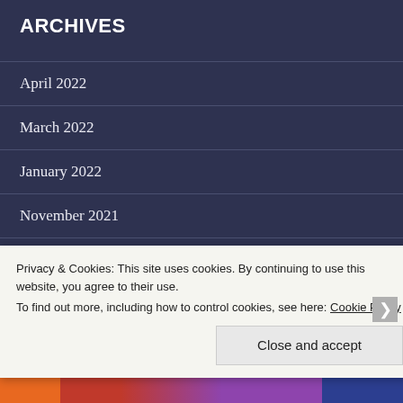ARCHIVES
April 2022
March 2022
January 2022
November 2021
October 2021
September 2021
August 2021
July 2021
Privacy & Cookies: This site uses cookies. By continuing to use this website, you agree to their use.
To find out more, including how to control cookies, see here: Cookie Policy
Close and accept